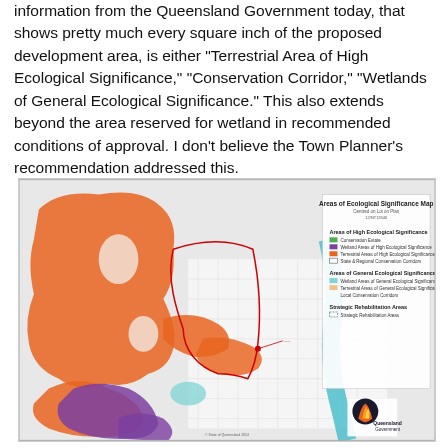information from the Queensland Government today, that shows pretty much every square inch of the proposed development area, is either "Terrestrial Area of High Ecological Significance," "Conservation Corridor," "Wetlands of General Ecological Significance." This also extends beyond the area reserved for wetland in recommended conditions of approval. I don't believe the Town Planner's recommendation addressed this.
[Figure (map): Areas of Ecological Significance Map centred on lot on plan. Shows orange (Terrestrial Areas of High Ecological Significance), purple (Wetland Areas of High Ecological Significance), teal (Wetland Areas of General Ecological Significance), and light orange (Terrestrial Areas of General Ecological Significance) overlaid on a street map. Legend includes Conservation Estates, State & Regional Conservation Corridors, Local Conservation Corridors, and Strategic Rehabilitation Areas. Queensland Government logo in bottom right.]